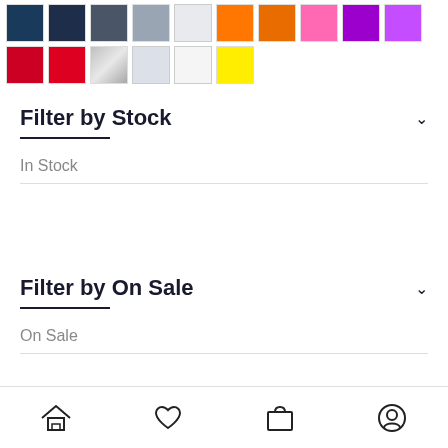[Figure (illustration): Color swatches row showing navy, dark navy, dark gray, medium gray, light gray, bright orange, muted orange, pink, purple, light purple, red in first row; red, silver, light gray, white, yellow in second row]
Filter by Stock
In Stock
Filter by On Sale
On Sale
[Figure (illustration): Bottom navigation bar with home, heart/wishlist, bag/cart, and account icons]